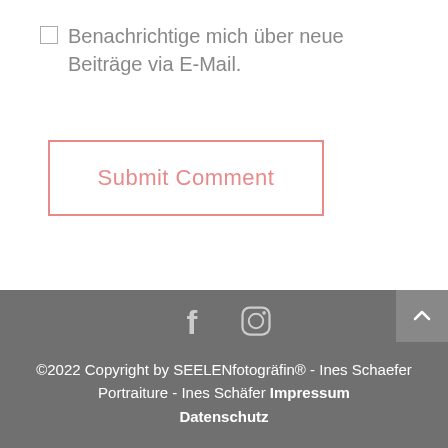☐ Benachrichtige mich über neue Beiträge via E-Mail.
Submit Comment
[Figure (other): Footer with Facebook and Instagram social media icons, copyright text, and scroll-to-top button]
©2022 Copyright by SEELENfotogräfin® - Ines Schaefer Portraiture - Ines Schäfer Impressum Datenschutz